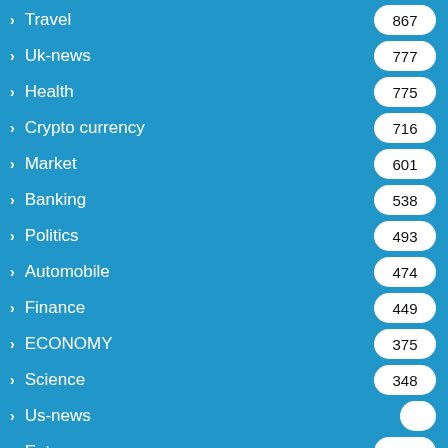Travel 867
Uk-news 777
Health 775
Crypto currency 716
Market 601
Banking 538
Politics 493
Automobile 474
Finance 449
ECONOMY 375
Science 348
Us-news (partially visible)
Entrepreneurs 316
Shopping 264